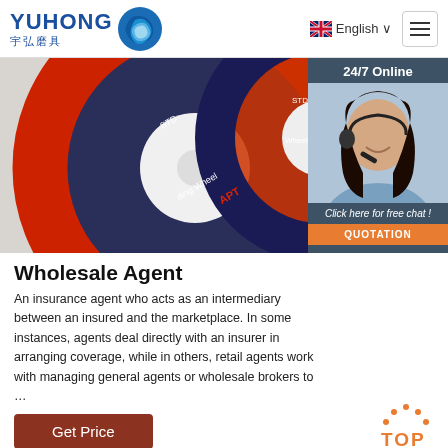[Figure (logo): YUHONG logo with Chinese characters 宇弘磨具 and blue wave icon]
[Figure (photo): Close-up photo of grinding/cutting wheel discs with red and dark blue labels, brand APT, STD markings]
[Figure (photo): 24/7 Online chat widget showing a female customer service agent wearing headset, with 'Click here for free chat!' text and QUOTATION button]
Wholesale Agent
An insurance agent who acts as an intermediary between an insured and the marketplace. In some instances, agents deal directly with an insurer in arranging coverage, while in others, retail agents work with managing general agents or wholesale brokers to …
[Figure (other): TOP scroll-to-top button with orange dots arc and orange TOP text]